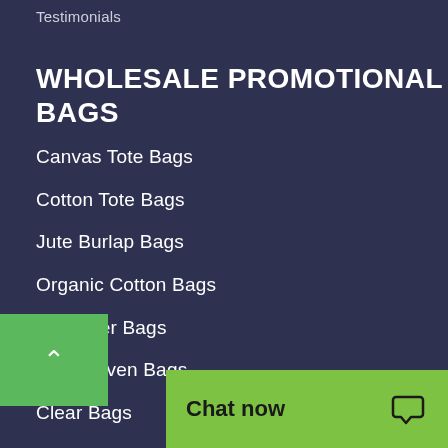Testimonials
WHOLESALE PROMOTIONAL BAGS
Canvas Tote Bags
Cotton Tote Bags
Jute Burlap Bags
Organic Cotton Bags
Polyester Bags
Non-Woven Bags
Clear Bags
Messenger Bags
Duffel Bags